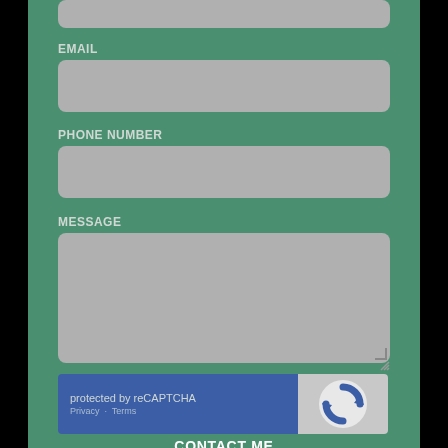[Figure (screenshot): A contact form UI on a green background (#4a9070) with input fields for EMAIL, PHONE NUMBER, and MESSAGE, a reCAPTCHA widget, and a CONTACT ME button at the bottom.]
EMAIL
PHONE NUMBER
MESSAGE
protected by reCAPTCHA
Privacy · Terms
CONTACT ME